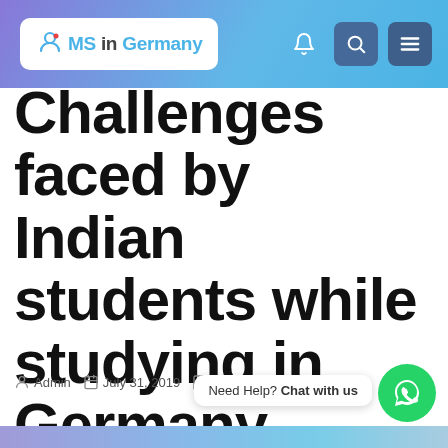MS in Germany
Challenges faced by Indian students while studying in Germany
Admin  July 31, 2019  No Comments
Need Help? Chat with us